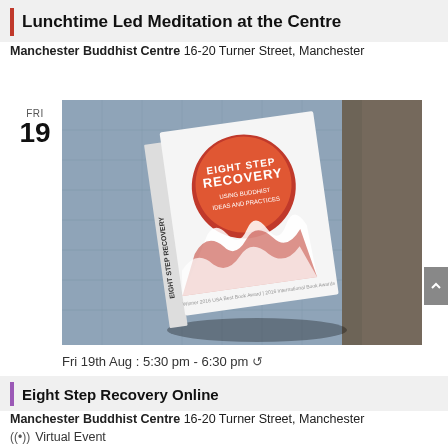Lunchtime Led Meditation at the Centre
Manchester Buddhist Centre 16-20 Turner Street, Manchester
FRI 19
[Figure (photo): Photo of a book titled 'Eight Step Recovery' lying on a grey sofa, with a distinctive red and white cover design featuring an orange circle and flowing white flames pattern. The book is placed at an angle showing its spine and front cover.]
Fri 19th Aug : 5:30 pm - 6:30 pm ↻
Eight Step Recovery Online
Manchester Buddhist Centre 16-20 Turner Street, Manchester
((•)) Virtual Event